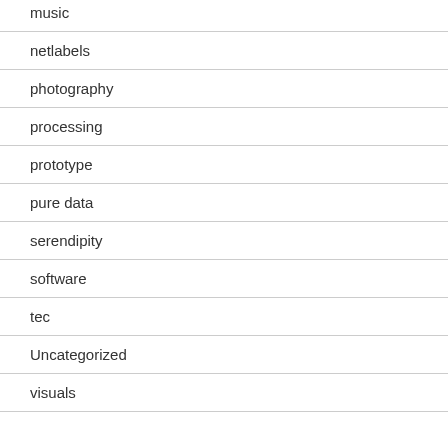music
netlabels
photography
processing
prototype
pure data
serendipity
software
tec
Uncategorized
visuals